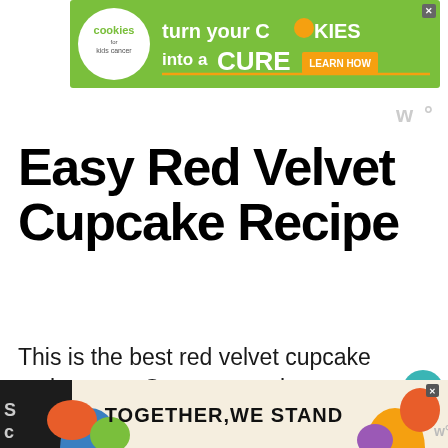[Figure (infographic): Green banner advertisement for Cookies for Kids' Cancer: turn your COOKIES into a CURE LEARN HOW]
[Figure (logo): Whisk/mixer logo watermark in gray, top right]
Easy Red Velvet Cupcake Recipe
This is the best red velvet cupcake recipe ever. Once you try it, we guarantee that your mouth will be watering and want to share it with everyone!
[Figure (infographic): TOGETHER WE STAND advertisement banner at the bottom with colorful shapes]